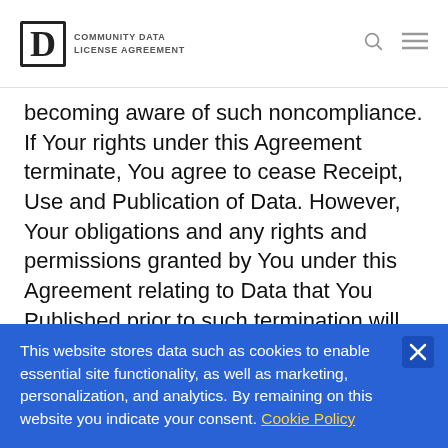COMMUNITY DATA LICENSE AGREEMENT
becoming aware of such noncompliance.  If Your rights under this Agreement terminate, You agree to cease Receipt, Use and Publication of Data.  However, Your obligations and any rights and permissions granted by You under this Agreement relating to Data that You Published prior to such termination will continue and survive.
5.2 If You institute litigation against a
This website stores data such as cookies to enable essential site functionality, as well as marketing, personalization, and analytics. By remaining on this website you indicate your consent. Cookie Policy